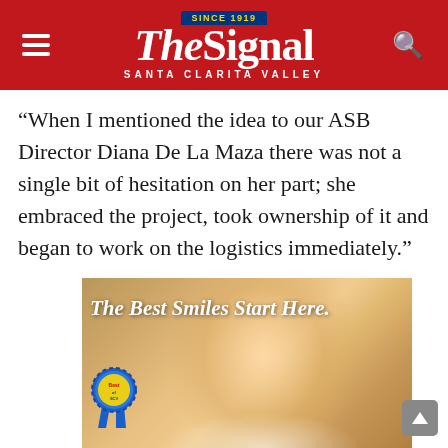The Signal — Santa Clarita Valley
“When I mentioned the idea to our ASB Director Diana De La Maza there was not a single bit of hesitation on her part; she embraced the project, took ownership of it and began to work on the logistics immediately.”
[Figure (photo): Advertisement for a dental/smile business showing a smiling young woman with text 'The Best Smiles Start Here.' and a blue ribbon award badge in the lower left corner.]